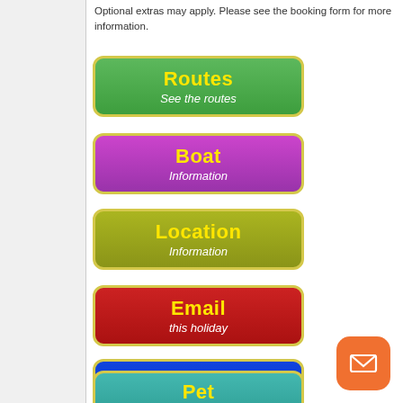Optional extras may apply. Please see the booking form for more information.
[Figure (other): Green button: Routes / See the routes]
[Figure (other): Purple button: Boat / Information]
[Figure (other): Olive/yellow-green button: Location / Information]
[Figure (other): Red button: Email / this holiday]
[Figure (other): Blue button: Coronavirus / book with confidence]
[Figure (other): Teal button: Pet / friendly boat (partially visible)]
[Figure (other): Orange rounded square FAB with envelope/mail icon]